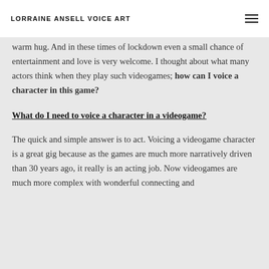LORRAINE ANSELL VOICE ART
warm hug. And in these times of lockdown even a small chance of entertainment and love is very welcome. I thought about what many actors think when they play such videogames; how can I voice a character in this game?
What do I need to voice a character in a videogame?
The quick and simple answer is to act. Voicing a videogame character is a great gig because as the games are much more narratively driven than 30 years ago, it really is an acting job. Now videogames are much more complex with wonderful connecting and